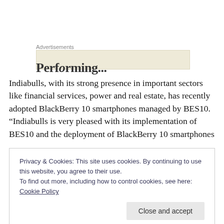Advertisements
[Figure (other): Advertisement placeholder box with partial text visible at bottom]
Indiabulls, with its strong presence in important sectors like financial services, power and real estate, has recently adopted BlackBerry 10 smartphones managed by BES10. “Indiabulls is very pleased with its implementation of BES10 and the deployment of BlackBerry 10 smartphones
Privacy & Cookies: This site uses cookies. By continuing to use this website, you agree to their use.
To find out more, including how to control cookies, see here: Cookie Policy
we are able to keep corporate information separate and